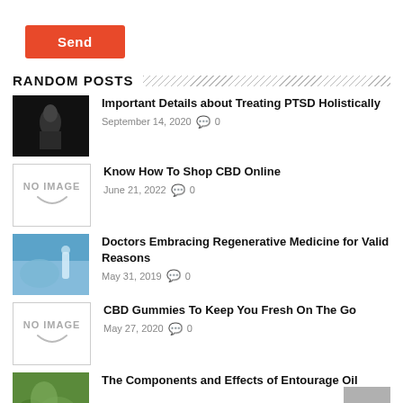[Figure (other): Orange Send button]
RANDOM POSTS
[Figure (photo): Dark black and white photo thumbnail for PTSD article]
Important Details about Treating PTSD Holistically
September 14, 2020  0
[Figure (other): No image placeholder thumbnail]
Know How To Shop CBD Online
June 21, 2022  0
[Figure (photo): Blue gloved hand with dropper - regenerative medicine thumbnail]
Doctors Embracing Regenerative Medicine for Valid Reasons
May 31, 2019  0
[Figure (other): No image placeholder thumbnail]
CBD Gummies To Keep You Fresh On The Go
May 27, 2020  0
[Figure (photo): Green herbs/plants thumbnail for Entourage Oil article]
The Components and Effects of Entourage Oil